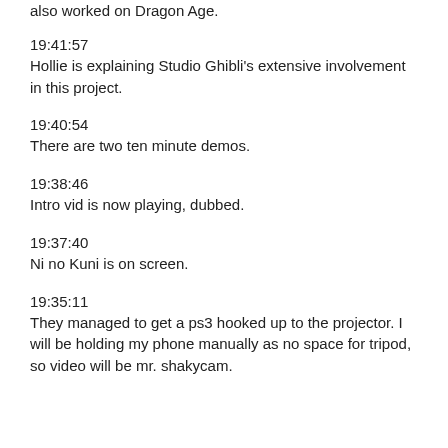also worked on Dragon Age.
19:41:57
Hollie is explaining Studio Ghibli's extensive involvement in this project.
19:40:54
There are two ten minute demos.
19:38:46
Intro vid is now playing, dubbed.
19:37:40
Ni no Kuni is on screen.
19:35:11
They managed to get a ps3 hooked up to the projector. I will be holding my phone manually as no space for tripod, so video will be mr. shakycam.